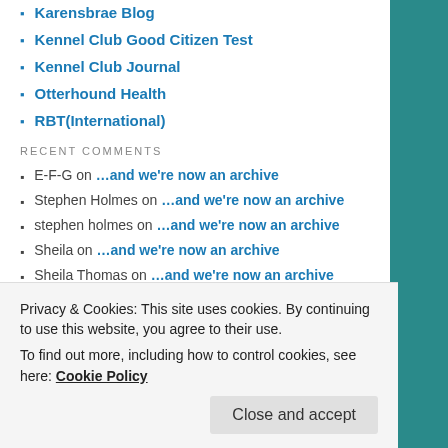Karensbrae Blog
Kennel Club Good Citizen Test
Kennel Club Journal
Otterhound Health
RBT(International)
RECENT COMMENTS
E-F-G on …and we're now an archive
Stephen Holmes on …and we're now an archive
stephen holmes on …and we're now an archive
Sheila on …and we're now an archive
Sheila Thomas on …and we're now an archive
ARCHIVES
Privacy & Cookies: This site uses cookies. By continuing to use this website, you agree to their use.
To find out more, including how to control cookies, see here: Cookie Policy